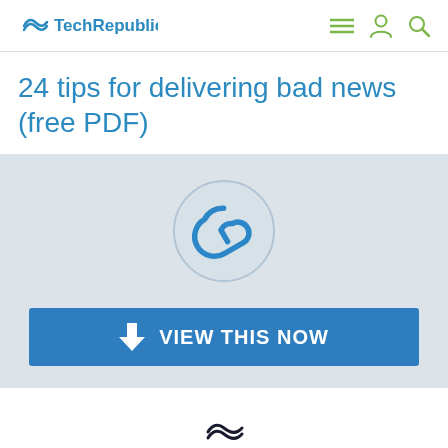TechRepublic
24 tips for delivering bad news (free PDF)
[Figure (illustration): Paperclip icon inside a circle, styled in blue outlines on a light gray background]
VIEW THIS NOW
[Figure (logo): TechRepublic logo with wave/tilde icon in dark blue and green accent]